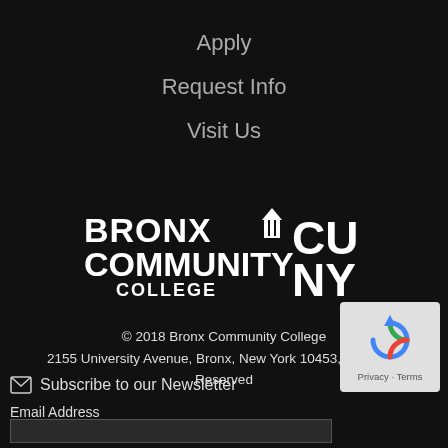Apply
Request Info
Visit Us
[Figure (logo): Bronx Community College and CUNY logos in white on black background]
© 2018 Bronx Community College
2155 University Avenue, Bronx, New York 10453, All Rights Reserved
✉ Subscribe to our Newsletter
Email Address